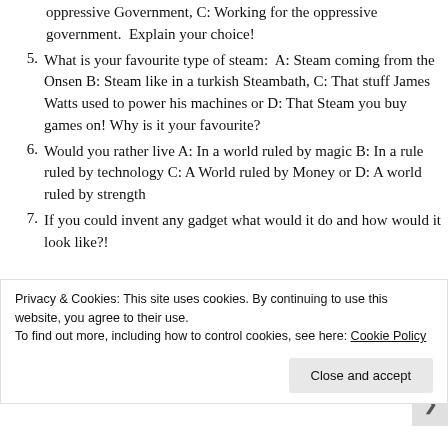Treasure Hunting, B: Stealing from the oppressive Government, C: Working for the oppressive government.  Explain your choice!
5. What is your favourite type of steam:  A: Steam coming from the Onsen B: Steam like in a turkish Steambath, C: That stuff James Watts used to power his machines or D: That Steam you buy games on! Why is it your favourite?
6. Would you rather live A: In a world ruled by magic B: In a rule ruled by technology C: A World ruled by Money or D: A world ruled by strength
7. If you could invent any gadget what would it do and how would it look like?!
Privacy & Cookies: This site uses cookies. By continuing to use this website, you agree to their use.
To find out more, including how to control cookies, see here: Cookie Policy